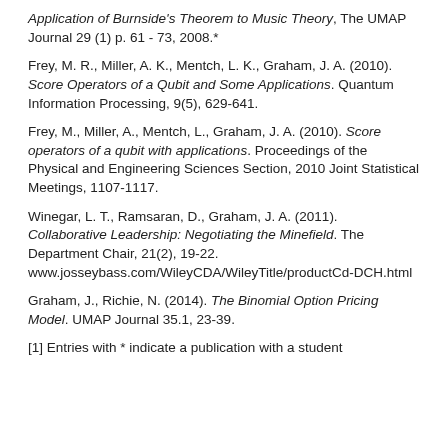Application of Burnside's Theorem to Music Theory, The UMAP Journal 29 (1) p. 61 - 73, 2008.*
Frey, M. R., Miller, A. K., Mentch, L. K., Graham, J. A. (2010). Score Operators of a Qubit and Some Applications. Quantum Information Processing, 9(5), 629-641.
Frey, M., Miller, A., Mentch, L., Graham, J. A. (2010). Score operators of a qubit with applications. Proceedings of the Physical and Engineering Sciences Section, 2010 Joint Statistical Meetings, 1107-1117.
Winegar, L. T., Ramsaran, D., Graham, J. A. (2011). Collaborative Leadership: Negotiating the Minefield. The Department Chair, 21(2), 19-22. www.josseybass.com/WileyCDA/WileyTitle/productCd-DCH.html
Graham, J., Richie, N. (2014). The Binomial Option Pricing Model. UMAP Journal 35.1, 23-39.
[1] Entries with * indicate a publication with a student